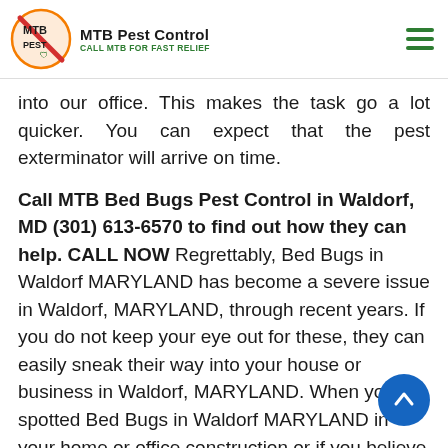MTB Pest Control — CALL MTB FOR FAST RELIEF
into our office. This makes the task go a lot quicker. You can expect that the pest exterminator will arrive on time.
Call MTB Bed Bugs Pest Control in Waldorf, MD (301) 613-6570 to find out how they can help. CALL NOW
Regrettably, Bed Bugs in Waldorf MARYLAND has become a severe issue in Waldorf, MARYLAND, through recent years. If you do not keep your eye out for these, they can easily sneak their way into your house or business in Waldorf, MARYLAND. When you spotted Bed Bugs in Waldorf MARYLAND in your home or office construction or if you believe you may have Bed Bugs in Waldorf MARYLAND, but you haven't